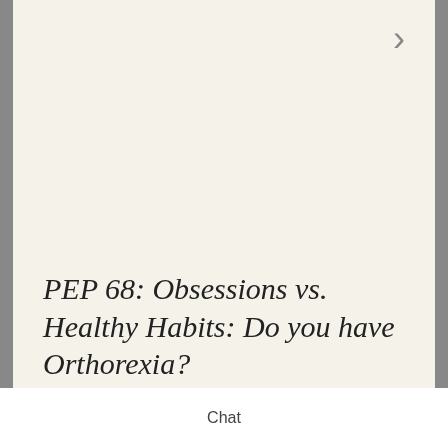PEP 68: Obsessions vs. Healthy Habits: Do you have Orthorexia?
Recent Posts
Is it Really Healthy? Clearing up the Food Confusion
Chat